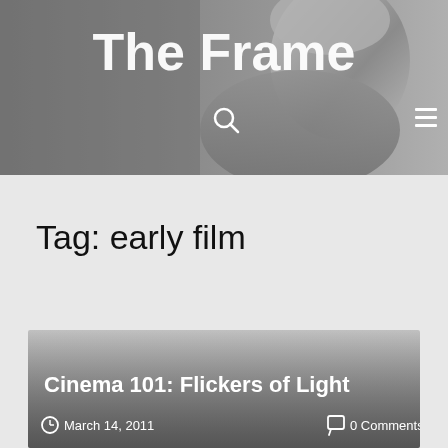The Frame
Tag: early film
Cinema 101: Flickers of Light
March 14, 2011   0 Comments